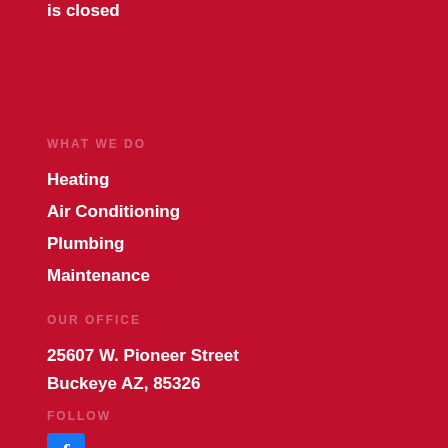24/7 on call technician available when office is closed
WHAT WE DO
Heating
Air Conditioning
Plumbing
Maintenance
OUR OFFICE
25607 W. Pioneer Street
Buckeye AZ, 85326
FOLLOW
[Figure (logo): Facebook icon button — blue square with white 'f' letter]